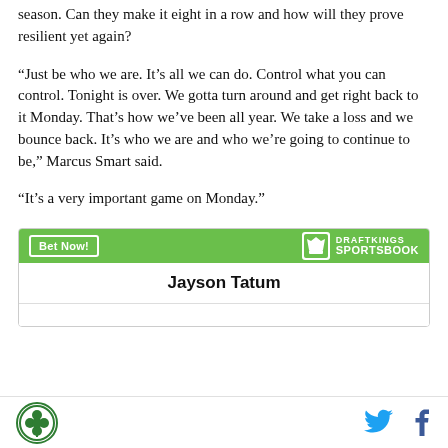season. Can they make it eight in a row and how will they prove resilient yet again?
“Just be who we are. It’s all we can do. Control what you can control. Tonight is over. We gotta turn around and get right back to it Monday. That’s how we’ve been all year. We take a loss and we bounce back. It’s who we are and who we’re going to continue to be,” Marcus Smart said.
“It’s a very important game on Monday.”
[Figure (infographic): DraftKings Sportsbook promotional widget with 'Bet Now!' button and Jayson Tatum listed as a betting option]
SB Nation logo, Twitter icon, Facebook icon